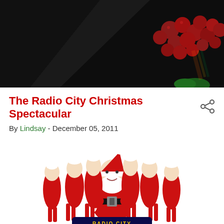[Figure (photo): Dark background photo with red berries/holly and green element, Christmas decoration close-up]
The Radio City Christmas Spectacular
By Lindsay - December 05, 2011
[Figure (photo): Promotional image for Radio City Christmas Spectacular showing Santa Claus surrounded by Rockettes dancers in red and white costumes, with the Radio City Christmas Spectacular logo at the bottom]